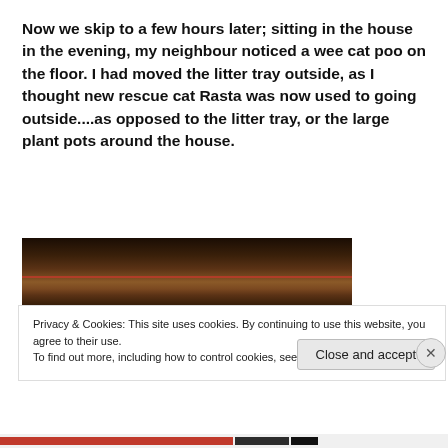Now we skip to a few hours later; sitting in the house in the evening, my neighbour noticed a wee cat poo on the floor. I had moved the litter tray outside, as I thought new rescue cat Rasta was now used to going outside....as opposed to the litter tray, or the large plant pots around the house.
[Figure (photo): A dark close-up photo of what appears to be a patterned rug or carpet on a wooden floor, with a thin red horizontal line visible across the image.]
Privacy & Cookies: This site uses cookies. By continuing to use this website, you agree to their use.
To find out more, including how to control cookies, see here: Cookie Policy
Close and accept